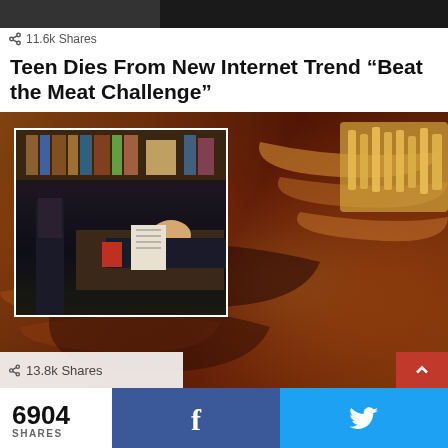[Figure (screenshot): Dark top bar with partially visible image]
11.6k Shares
Teen Dies From New Internet Trend “Beat the Meat Challenge”
[Figure (photo): Main image showing BBQ ribs on a plate with fries, with an inset image showing two figures in a dark room]
13.8k Shares
6904 SHARES
[Figure (logo): Facebook share button (f icon on blue background)]
[Figure (logo): Twitter share button (bird icon on light blue background)]